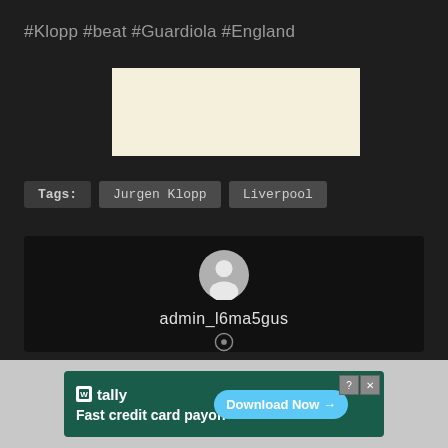#Klopp #beat #Guardiola #England
[Figure (other): Blank cream/beige colored image placeholder]
Tags:  Jurgen Klopp  Liverpool
[Figure (other): User profile card with default grey avatar icon and username admin_l6ma5gus]
[Figure (other): Advertisement banner: Tally - Fast credit card payoff, Download Now button]